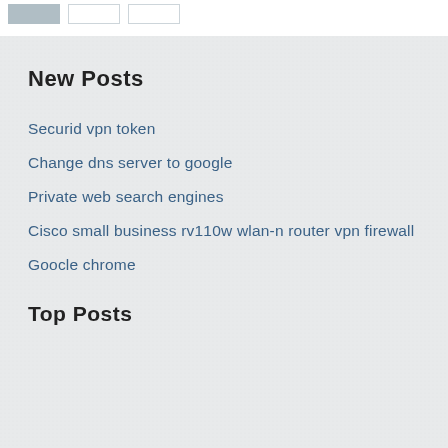[Figure (other): Three small rectangular boxes at the top: one filled with grey-blue color, two with white/outline only]
New Posts
Securid vpn token
Change dns server to google
Private web search engines
Cisco small business rv110w wlan-n router vpn firewall
Goocle chrome
Top Posts